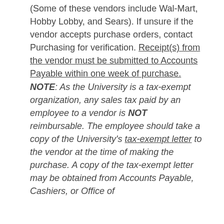(Some of these vendors include Wal-Mart, Hobby Lobby, and Sears). If unsure if the vendor accepts purchase orders, contact Purchasing for verification. Receipt(s) from the vendor must be submitted to Accounts Payable within one week of purchase. NOTE: As the University is a tax-exempt organization, any sales tax paid by an employee to a vendor is NOT reimbursable. The employee should take a copy of the University's tax-exempt letter to the vendor at the time of making the purchase. A copy of the tax-exempt letter may be obtained from Accounts Payable, Cashiers, or Office of